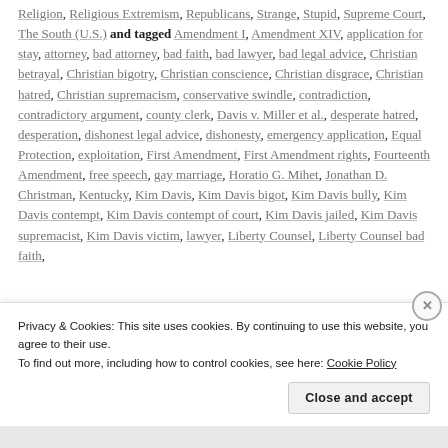Religion, Religious Extremism, Republicans, Strange, Stupid, Supreme Court, The South (U.S.) and tagged Amendment I, Amendment XIV, application for stay, attorney, bad attorney, bad faith, bad lawyer, bad legal advice, Christian betrayal, Christian bigotry, Christian conscience, Christian disgrace, Christian hatred, Christian supremacism, conservative swindle, contradiction, contradictory argument, county clerk, Davis v. Miller et al., desperate hatred, desperation, dishonest legal advice, dishonesty, emergency application, Equal Protection, exploitation, First Amendment, First Amendment rights, Fourteenth Amendment, free speech, gay marriage, Horatio G. Mihet, Jonathan D. Christman, Kentucky, Kim Davis, Kim Davis bigot, Kim Davis bully, Kim Davis contempt, Kim Davis contempt of court, Kim Davis jailed, Kim Davis supremacist, Kim Davis victim, lawyer, Liberty Counsel, Liberty Counsel bad faith,
Privacy & Cookies: This site uses cookies. By continuing to use this website, you agree to their use. To find out more, including how to control cookies, see here: Cookie Policy
Close and accept